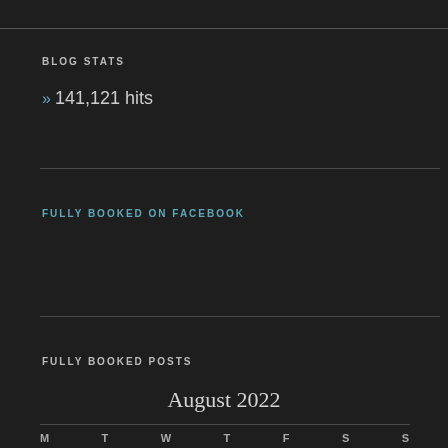BLOG STATS
» 141,121 hits
FULLY BOOKED ON FACEBOOK
FULLY BOOKED POSTS
August 2022
| M | T | W | T | F | S | S |
| --- | --- | --- | --- | --- | --- | --- |